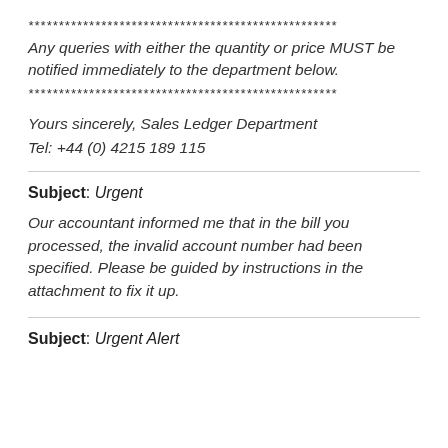***************************************************
Any queries with either the quantity or price MUST be notified immediately to the department below.
***************************************************
Yours sincerely, Sales Ledger Department
Tel: +44 (0) 4215 189 115
Subject: Urgent
Our accountant informed me that in the bill you processed, the invalid account number had been specified. Please be guided by instructions in the attachment to fix it up.
Subject: Urgent Alert